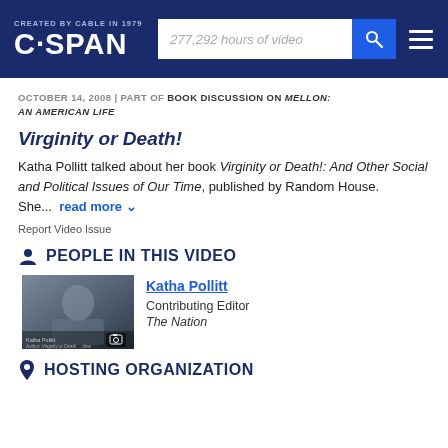CREATED BY CABLE IN 1979 | C-SPAN | 277,292 hours of video
OCTOBER 14, 2008 | PART OF BOOK DISCUSSION ON MELLON: AN AMERICAN LIFE
Virginity or Death!
Katha Pollitt talked about her book Virginity or Death!: And Other Social and Political Issues of Our Time, published by Random House. She... read more
Report Video Issue
PEOPLE IN THIS VIDEO
[Figure (photo): Thumbnail photo of Katha Pollitt with camera icon overlay]
Katha Pollitt
Contributing Editor
The Nation
HOSTING ORGANIZATION